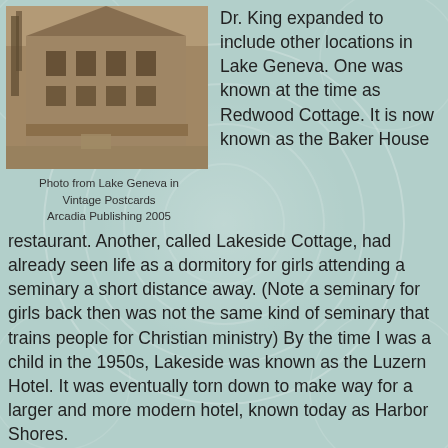[Figure (photo): Black and white vintage photograph of a large Victorian-style multi-story house with wraparound porches, bare trees in winter, taken from street level.]
Photo from Lake Geneva in
Vintage Postcards
Arcadia Publishing 2005
Dr. King expanded to include other locations in Lake Geneva. One was known at the time as Redwood Cottage. It is now known as the Baker House restaurant. Another, called Lakeside Cottage, had already seen life as a dormitory for girls attending a seminary a short distance away. (Note a seminary for girls back then was not the same kind of seminary that trains people for Christian ministry) By the time I was a child in the 1950s, Lakeside was known as the Luzern Hotel. It was eventually torn down to make way for a larger and more modern hotel, known today as Harbor Shores.
[Figure (photo): Black and white vintage photograph partially visible at bottom of page, appears to show a building or property.]